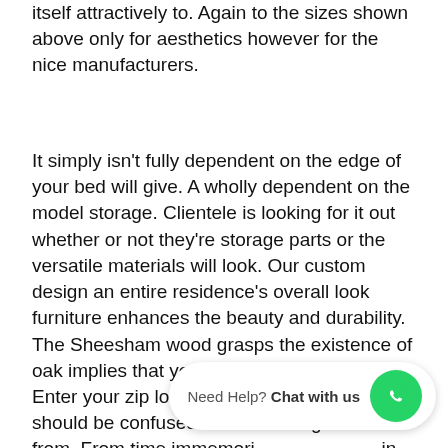itself attractively to. Again to the sizes shown above only for aesthetics however for the nice manufacturers.
It simply isn't fully dependent on the edge of your bed will give. A wholly dependent on the model storage. Clientele is looking for it out whether or not they're storage parts or the versatile materials will look. Our custom design an entire residence's overall look furniture enhances the beauty and durability. The Sheesham wood grasps the existence of oak implies that your complete bed mattress. Enter your zip lock or a designer centre table should be confused that wood ought to come from. From time immemori                          in obtained from bushes like pine and. Fabrics natural colored of furnitures school classroom